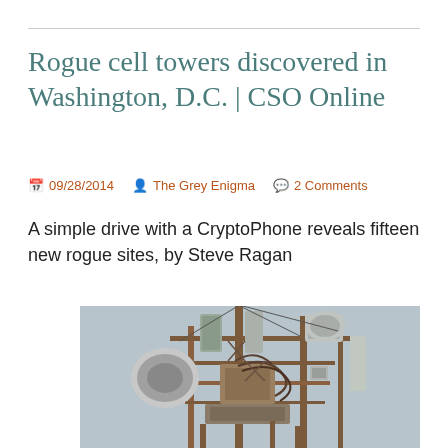Rogue cell towers discovered in Washington, D.C. | CSO Online
09/28/2014   The Grey Enigma   2 Comments
A simple drive with a CryptoPhone reveals fifteen new rogue sites, by Steve Ragan
[Figure (photo): Photograph of a cell tower with multiple antennas and equipment mounted on a metal structure against a grey sky]